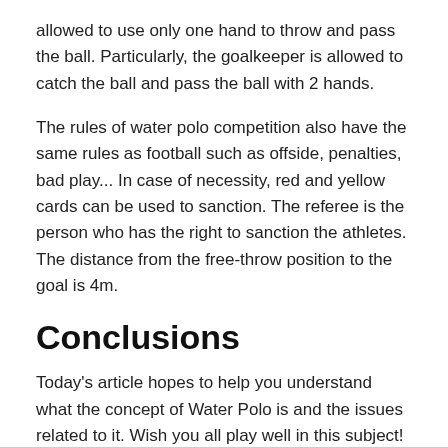allowed to use only one hand to throw and pass the ball. Particularly, the goalkeeper is allowed to catch the ball and pass the ball with 2 hands.
The rules of water polo competition also have the same rules as football such as offside, penalties, bad play... In case of necessity, red and yellow cards can be used to sanction. The referee is the person who has the right to sanction the athletes. The distance from the free-throw position to the goal is 4m.
Conclusions
Today's article hopes to help you understand what the concept of Water Polo is and the issues related to it. Wish you all play well in this subject!